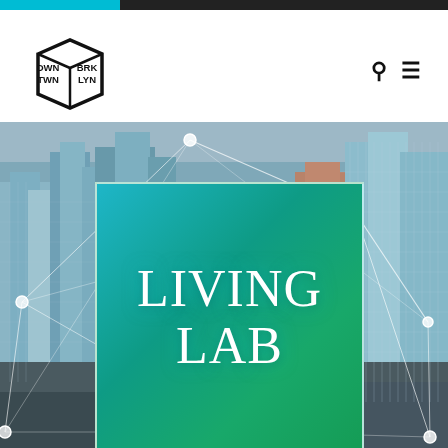[Figure (logo): Downtown Brooklyn logo: black cube shape with DWN TWN BRK LYN text in bold block letters]
[Figure (illustration): City skyline photograph with network graph overlay (white lines and nodes connecting across buildings), with a teal/green gradient overlay card in the center displaying 'LIVING LAB' in large white serif text]